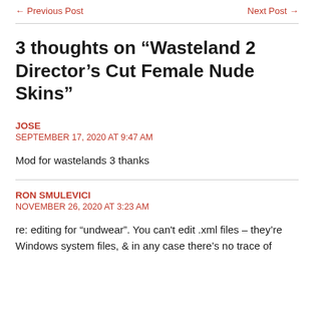← Previous Post   Next Post →
3 thoughts on “Wasteland 2 Director’s Cut Female Nude Skins”
JOSE
SEPTEMBER 17, 2020 AT 9:47 AM
Mod for wastelands 3 thanks
RON SMULEVICI
NOVEMBER 26, 2020 AT 3:23 AM
re: editing for “undwear”. You can't edit .xml files – they’re Windows system files, & in any case there’s no trace of